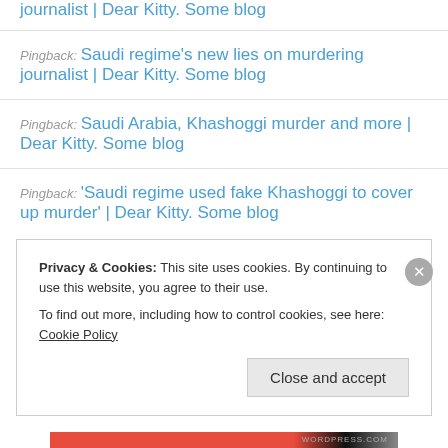journalist | Dear Kitty. Some blog
Pingback: Saudi regime's new lies on murdering journalist | Dear Kitty. Some blog
Pingback: Saudi Arabia, Khashoggi murder and more | Dear Kitty. Some blog
Pingback: 'Saudi regime used fake Khashoggi to cover up murder' | Dear Kitty. Some blog
Privacy & Cookies: This site uses cookies. By continuing to use this website, you agree to their use. To find out more, including how to control cookies, see here: Cookie Policy